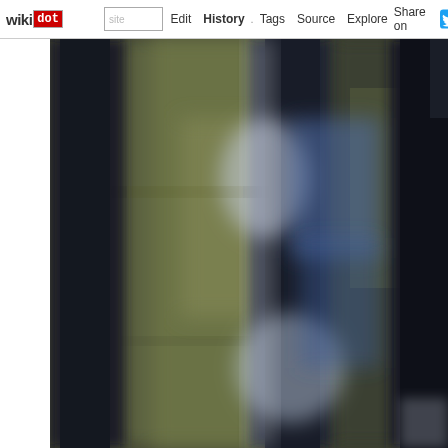wikidot | site | Edit | History | Tags | Source | Explore | Share on Twitter
[Figure (photo): Blurry close-up photograph showing what appears to be dark vertical structures (possibly fence posts or pillars) with a blurred background of green/olive foliage and blue sky or reflections. The image is heavily motion-blurred and out of focus.]